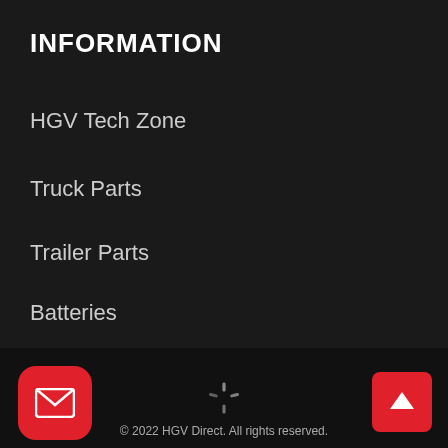INFORMATION
HGV Tech Zone
Truck Parts
Trailer Parts
Batteries
Tool Shop
Latest Offers
© 2022 HGV Direct. All rights reserved.